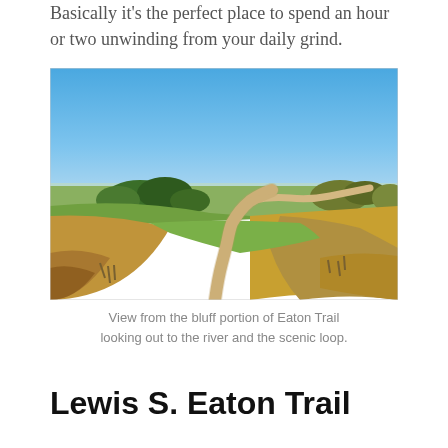Basically it's the perfect place to spend an hour or two unwinding from your daily grind.
[Figure (photo): Landscape photo showing a dirt trail winding through golden prairie grass and green shrubs, with a river valley and trees visible in the background under a clear blue sky. The trail forks in the distance near a bluff.]
View from the bluff portion of Eaton Trail looking out to the river and the scenic loop.
Lewis S. Eaton Trail